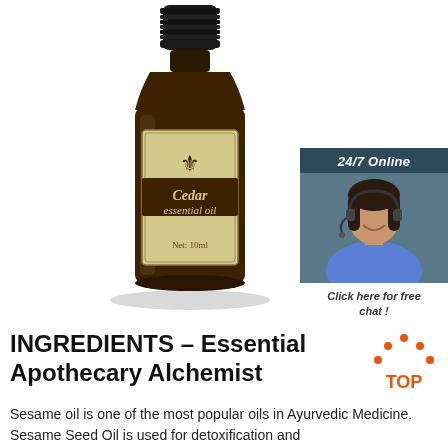[Figure (photo): Dark amber glass bottle of Cedar essential oil (Net: 10ml) with a black cap and gold/cream label featuring a fleur-de-lis logo]
[Figure (photo): 24/7 Online chat widget showing a smiling woman with a headset, dark teal background with 'Click here for free chat!' text and an orange QUOTATION button]
INGREDIENTS – Essential Apothecary Alchemist
[Figure (logo): TOP logo with orange dots arranged in arch and orange text 'TOP']
Sesame oil is one of the most popular oils in Ayurvedic Medicine. Sesame Seed Oil is used for detoxification and